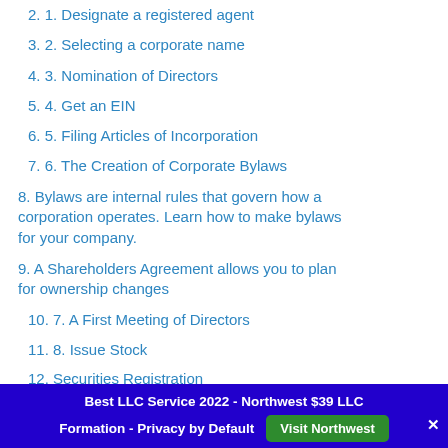2. 1. Designate a registered agent
3. 2. Selecting a corporate name
4. 3. Nomination of Directors
5. 4. Get an EIN
6. 5. Filing Articles of Incorporation
7. 6. The Creation of Corporate Bylaws
8. Bylaws are internal rules that govern how a corporation operates. Learn how to make bylaws for your company.
9. A Shareholders Agreement allows you to plan for ownership changes
10. 7. A First Meeting of Directors
11. 8. Issue Stock
12. Securities Registration
Best LLC Service 2022 - Northwest $39 LLC Formation - Privacy by Default
Visit Northwest